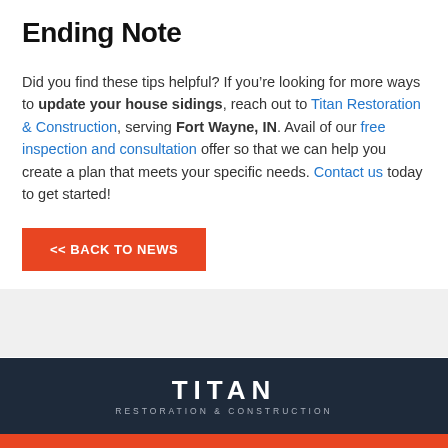Ending Note
Did you find these tips helpful? If you’re looking for more ways to update your house sidings, reach out to Titan Restoration & Construction, serving Fort Wayne, IN. Avail of our free inspection and consultation offer so that we can help you create a plan that meets your specific needs. Contact us today to get started!
<< BACK TO NEWS
[Figure (logo): Titan Restoration & Construction logo: white text on dark navy background with orange bar at bottom]